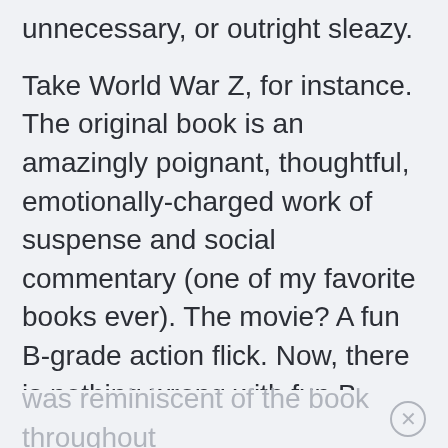unnecessary, or outright sleazy.
Take World War Z, for instance. The original book is an amazingly poignant, thoughtful, emotionally-charged work of suspense and social commentary (one of my favorite books ever). The movie? A fun B-grade action flick. Now, there is nothing wrong with fun B-grade action flicks. I enjoyed the movie, but comparing it to its source material is like comparing a candy bar to Thanksgiving dinner. There was literally one scene that
was reminiscent of the book throughout